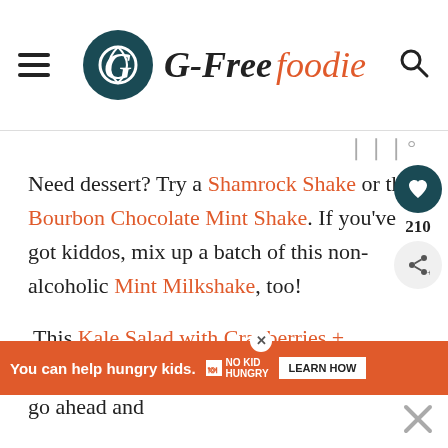G-Free Foodie
Need dessert? Try a Shamrock Shake or this Bourbon Chocolate Mint Shake. If you've got kiddos, mix up a batch of this non-alcoholic Mint Milkshake, too!
This Kale Salad with Cranberries + Pumpkin Seeds is also great year-round. So go ahead and b...
You can help hungry kids. NO KID HUNGRY LEARN HOW